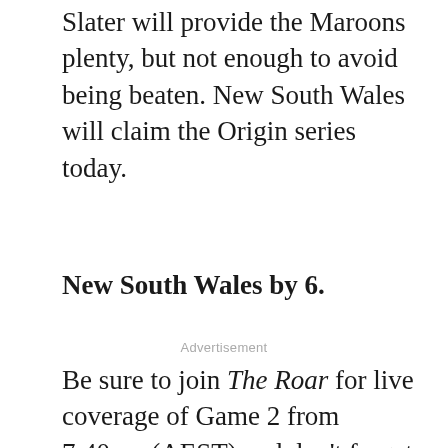Slater will provide the Maroons plenty, but not enough to avoid being beaten. New South Wales will claim the Origin series today.
New South Wales by 6.
Advertisement
Be sure to join The Roar for live coverage of Game 2 from 7:40pm (AEST) and don't forget to add a comment below.
The Gfinity Elite Series Australia presented by Alienware is the latest mu[lti-platform esport]h li[ve]s
[Figure (other): Hair Cuttery advertisement banner with yellow logo, 'Book a Same Day Appointment' text, and blue navigation arrow icon]